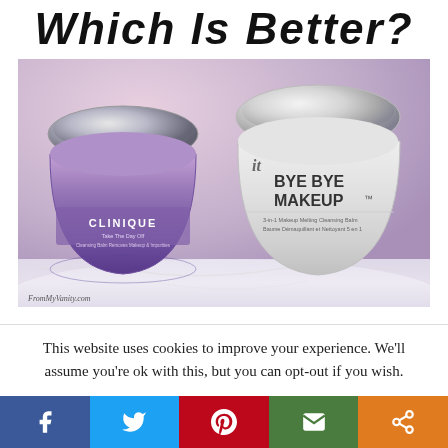Which Is Better?
[Figure (photo): Two makeup remover/cleansing balm products on a marble surface: Clinique Take The Day Off (purple jar, left) and IT Cosmetics Bye Bye Makeup 3-in-1 Makeup Melting Cleansing Balm (white jar, right). Watermark reads FromMyVanity.com.]
This website uses cookies to improve your experience. We'll assume you're ok with this, but you can opt-out if you wish.
[Figure (infographic): Social share bar with five buttons: Facebook (blue), Twitter (light blue), Pinterest (red), Email (green), Share (orange)]